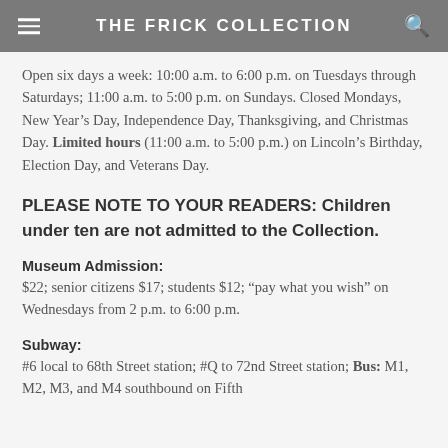THE FRICK COLLECTION
Open six days a week: 10:00 a.m. to 6:00 p.m. on Tuesdays through Saturdays; 11:00 a.m. to 5:00 p.m. on Sundays. Closed Mondays, New Year’s Day, Independence Day, Thanksgiving, and Christmas Day. Limited hours (11:00 a.m. to 5:00 p.m.) on Lincoln’s Birthday, Election Day, and Veterans Day.
PLEASE NOTE TO YOUR READERS: Children under ten are not admitted to the Collection.
Museum Admission:
$22; senior citizens $17; students $12; “pay what you wish” on Wednesdays from 2 p.m. to 6:00 p.m.
Subway:
#6 local to 68th Street station; #Q to 72nd Street station; Bus: M1, M2, M3, and M4 southbound on Fifth